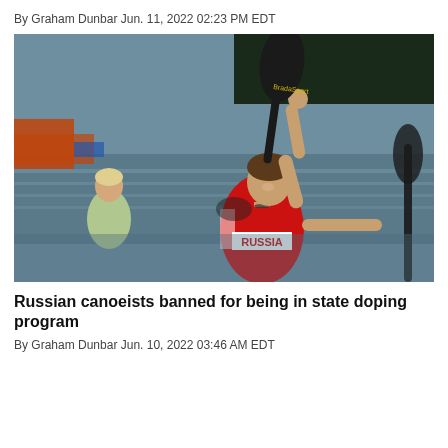By Graham Dunbar Jun. 11, 2022 02:23 PM EDT
[Figure (photo): A male athlete in a red Russia jersey raises a kayak paddle in the air in celebration on the water, with another athlete visible in the background.]
Russian canoeists banned for being in state doping program
By Graham Dunbar Jun. 10, 2022 03:46 AM EDT